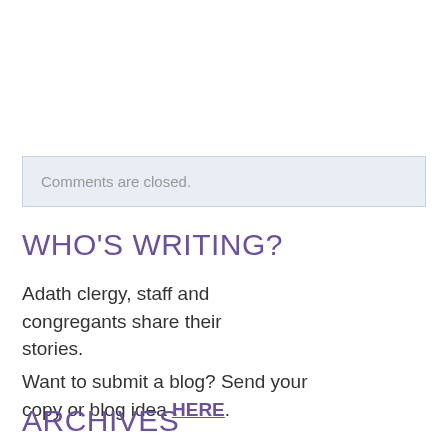[Figure (other): Twitter Tweet button with bird logo]
Comments are closed.
WHO'S WRITING?
Adath clergy, staff and congregants share their stories.
Want to submit a blog? Send your copy or blog idea HERE.
ARCHIVES
August 2022